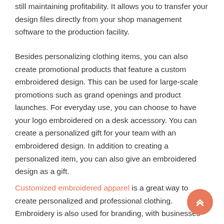still maintaining profitability. It allows you to transfer your design files directly from your shop management software to the production facility.
Besides personalizing clothing items, you can also create promotional products that feature a custom embroidered design. This can be used for large-scale promotions such as grand openings and product launches. For everyday use, you can choose to have your logo embroidered on a desk accessory. You can create a personalized gift for your team with an embroidered design. In addition to creating a personalized item, you can also give an embroidered design as a gift.
Customized embroidered apparel is a great way to create personalized and professional clothing. Embroidery is also used for branding, with businesses